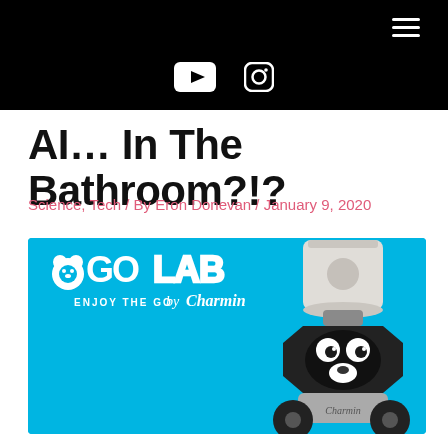Navigation header with hamburger menu, YouTube and Instagram icons
AI… In The Bathroom?!?
Science, Tech / By Eron Donevan / January 9, 2020
[Figure (photo): Charmin Go Lab robot — a small wheeled robot with a toilet paper roll on its head, bearing bear face markings, on a cyan/blue background with 'GO LAB ENJOY THE GO by Charmin' branding]